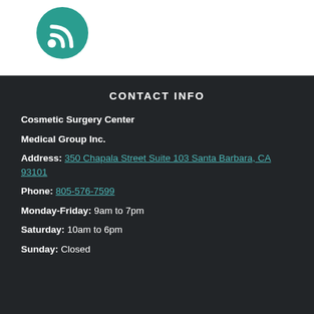[Figure (logo): Green circular RSS/podcast icon with white signal waves on a dark green background]
CONTACT INFO
Cosmetic Surgery Center
Medical Group Inc.
Address: 350 Chapala Street Suite 103 Santa Barbara, CA 93101
Phone: 805-576-7599
Monday-Friday: 9am to 7pm
Saturday: 10am to 6pm
Sunday: Closed